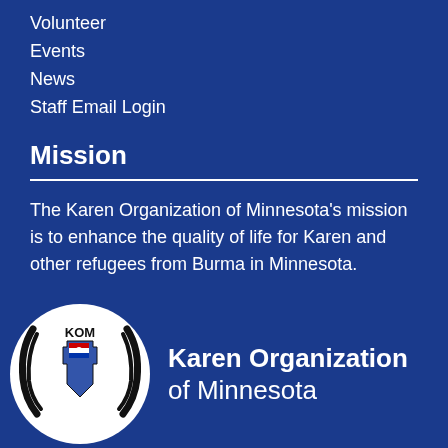Volunteer
Events
News
Staff Email Login
Mission
The Karen Organization of Minnesota's mission is to enhance the quality of life for Karen and other refugees from Burma in Minnesota.
[Figure (logo): Karen Organization of Minnesota circular logo with KOM text and Minnesota state silhouette with Karen flag]
Karen Organization of Minnesota